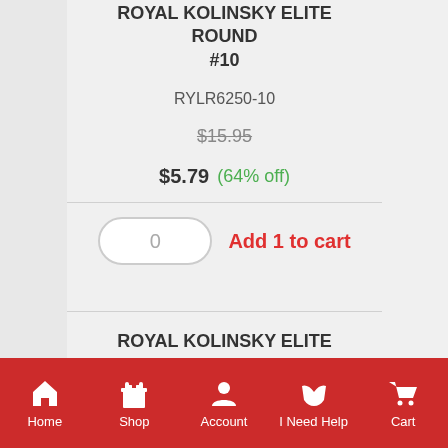ROYAL KOLINSKY ELITE ROUND #10
RYLR6250-10
$15.95
$5.79 (64% off)
0   Add 1 to cart
ROYAL KOLINSKY ELITE ROUND #12
RYLR6250-12
Home  Shop  Account  I Need Help  Cart